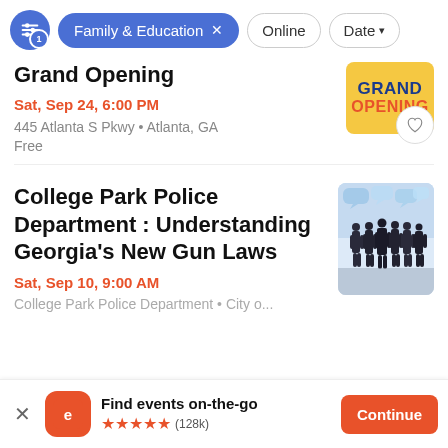Family & Education × Online Date
Grand Opening
Sat, Sep 24, 6:00 PM
445 Atlanta S Pkwy • Atlanta, GA
Free
[Figure (illustration): Grand Opening banner image with yellow background and blue/orange text reading GRAND OPENING]
College Park Police Department : Understanding Georgia's New Gun Laws
Sat, Sep 10, 9:00 AM
College Park Police Department • City o...
[Figure (illustration): Silhouette of group of people standing with speech bubbles above them against a blue/white background]
Find events on-the-go ★★★★★ (128k)
Continue